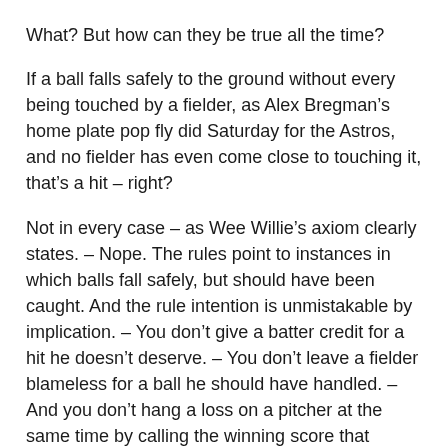What? But how can they be true all the time?
If a ball falls safely to the ground without every being touched by a fielder, as Alex Bregman’s home plate pop fly did Saturday for the Astros, and no fielder has even come close to touching it, that’s a hit – right?
Not in every case – as Wee Willie’s axiom clearly states. – Nope. The rules point to instances in which balls fall safely, but should have been caught. And the rule intention is unmistakable by implication. – You don’t give a batter credit for a hit he doesn’t deserve. – You don’t leave a fielder blameless for a ball he should have handled. – And you don’t hang a loss on a pitcher at the same time by calling the winning score that resulted “a hit” – making it the producer of an earned run that also hikes the ERA of the pitcher who did nothing to deserve the extra discredit.